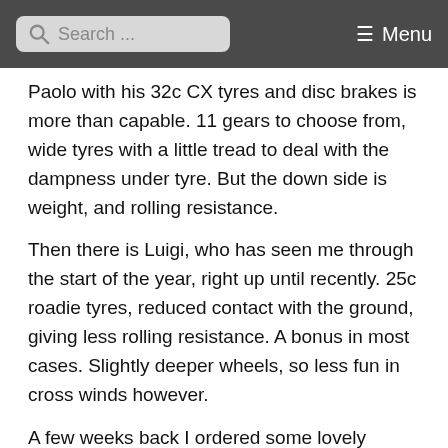Search ... Menu
Paolo with his 32c CX tyres and disc brakes is more than capable. 11 gears to choose from, wide tyres with a little tread to deal with the dampness under tyre. But the down side is weight, and rolling resistance.
Then there is Luigi, who has seen me through the start of the year, right up until recently. 25c roadie tyres, reduced contact with the ground, giving less rolling resistance. A bonus in most cases. Slightly deeper wheels, so less fun in cross winds however.
A few weeks back I ordered some lovely Schwable Marathon Plus tyres for Luigi, make him a bit more winter capable. But on trying to seat them, I found